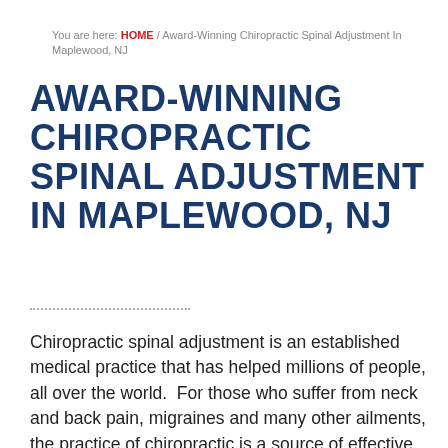You are here: HOME / Award-Winning Chiropractic Spinal Adjustment In Maplewood, NJ
AWARD-WINNING CHIROPRACTIC SPINAL ADJUSTMENT IN MAPLEWOOD, NJ
Chiropractic spinal adjustment is an established medical practice that has helped millions of people, all over the world.  For those who suffer from neck and back pain, migraines and many other ailments, the practice of chiropractic is a source of effective relief.